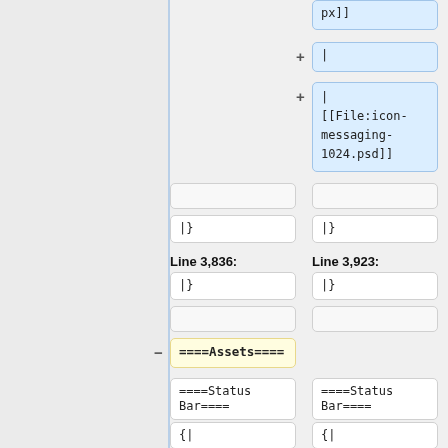px]]
|
|
[[File:icon-messaging-1024.psd]]
|}
|}
Line 3,836:
Line 3,923:
|}
|}
====Assets====
====Status Bar====
====Status Bar====
{|
{|